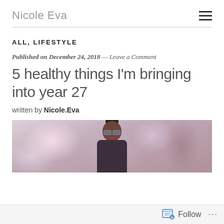Nicole Eva
ALL, LIFESTYLE
Published on December 24, 2018 — Leave a Comment
5 healthy things I'm bringing into year 27
written by Nicole.Eva
[Figure (photo): Portrait photo of a young woman with braided hair in a bun, wearing glasses and smiling, with blurred tree branches in the background.]
Follow ...